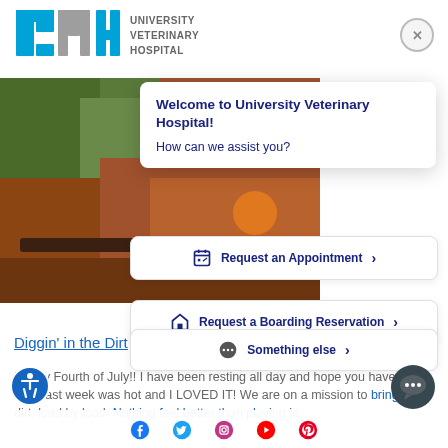[Figure (logo): University Veterinary Hospital (UVH) logo with blue and grey block letters and text]
Welcome to University Veterinary Hospital!
How can we assist you?
Request an Appointment >
Request a Boarding Reservation >
[Figure (photo): Background photo of a dog digging in reddish dirt near trees]
Diggin' in the Dirt
Something else >
Happy Fourth of July!! I have been resting all day and hope you have been too. Last week was hot and I LOVED IT! We are on a mission to bring in dirt, load by load. Nothing feels better than playing in
[Figure (infographic): Social media icons bar: Facebook, Twitter, Instagram, YouTube, Pinterest]
[Figure (other): Accessibility icon button (blue circle with wheelchair symbol)]
[Figure (other): Chat bubble button (dark grey circle with three dots)]